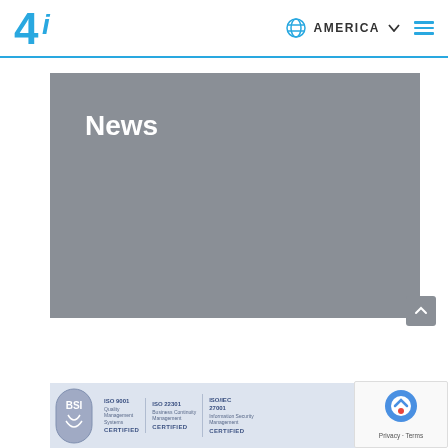4i | AMERICA
News
[Figure (screenshot): Gray banner area for News section]
[Figure (infographic): BSI certification badges: ISO 9001 Quality Management Systems CERTIFIED, ISO 22301 Business Continuity Management CERTIFIED, ISO/IEC 27001 Information Security Management CERTIFIED]
[Figure (logo): Google reCAPTCHA badge with Privacy - Terms text]